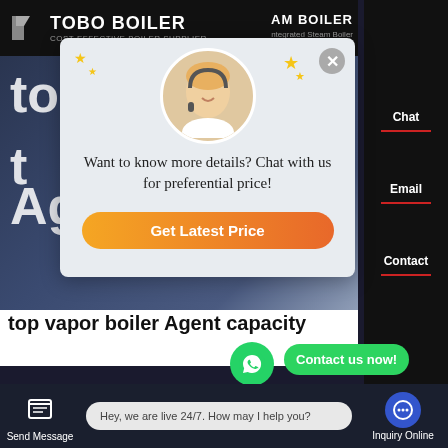TOBO BOILER - COST-EFFECTIVE BOILER SUPPLIER | STEAM BOILER | Integrated Steam Boiler
[Figure (screenshot): Website screenshot of Tobo Boiler with a chat popup overlay. The popup shows a customer service agent photo and text 'Want to know more details? Chat with us for preferential price!' with a 'Get Latest Price' orange button. Background shows building facade. Bottom text reads 'top vapor boiler Agent capacity'. WhatsApp contact button visible. Chat bar at bottom with 'Hey, we are live 24/7. How may I help you?']
Want to know more details? Chat with us for preferential price!
Get Latest Price
top vapor boiler Agent capacity
Contact us now!
HOT NEWS
Hey, we are live 24/7. How may I help you?
Send Message
Inquiry Online
Chat
Email
Contact